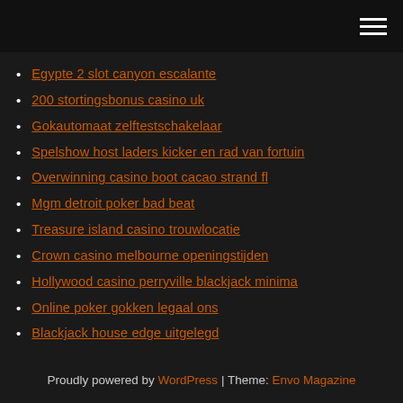Navigation menu
Egypte 2 slot canyon escalante
200 stortingsbonus casino uk
Gokautomaat zelftestschakelaar
Spelshow host laders kicker en rad van fortuin
Overwinning casino boot cacao strand fl
Mgm detroit poker bad beat
Treasure island casino trouwlocatie
Crown casino melbourne openingstijden
Hollywood casino perryville blackjack minima
Online poker gokken legaal ons
Blackjack house edge uitgelegd
Proudly powered by WordPress | Theme: Envo Magazine